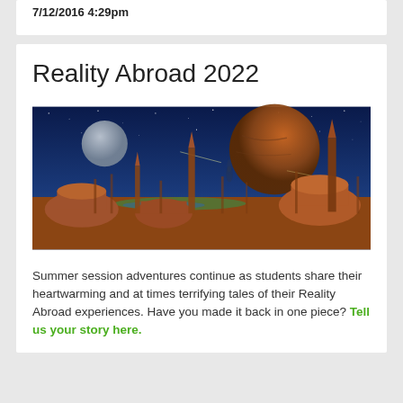7/12/2016 4:29pm
Reality Abroad 2022
[Figure (illustration): Science fiction landscape painting showing alien desert terrain with towering spire formations, a large orange planet and smaller grey moon in a star-filled blue sky, with ruined structures in the background.]
Summer session adventures continue as students share their heartwarming and at times terrifying tales of their Reality Abroad experiences. Have you made it back in one piece? Tell us your story here.